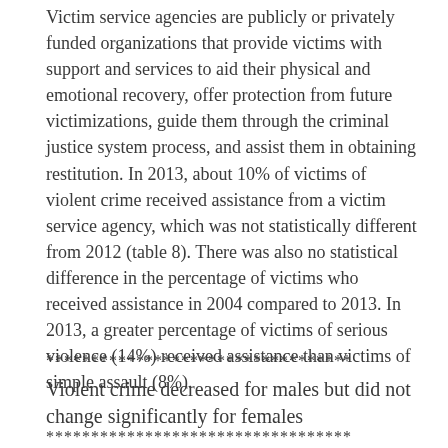Victim service agencies are publicly or privately funded organizations that provide victims with support and services to aid their physical and emotional recovery, offer protection from future victimizations, guide them through the criminal justice system process, and assist them in obtaining restitution. In 2013, about 10% of victims of violent crime received assistance from a victim service agency, which was not statistically different from 2012 (table 8). There was also no statistical difference in the percentage of victims who received assistance in 2004 compared to 2013. In 2013, a greater percentage of victims of serious violence (14%) received assistance than victims of simple assault (8%).
**********************************
Violent crime decreased for males but did not change significantly for females
**********************************